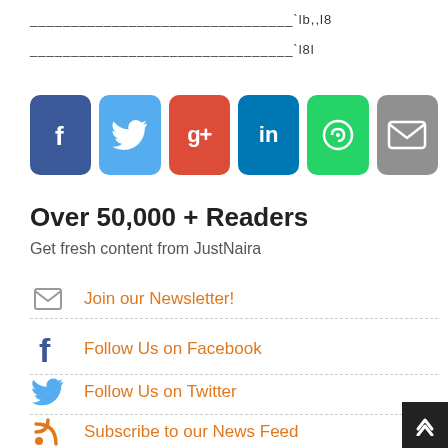________________________________`lb,,l8
________________________________`l8l
[Figure (infographic): Six social media share buttons: Facebook (dark blue), Twitter (light blue), Google+ (red), LinkedIn (dark teal), WhatsApp (green), Email (grey)]
Over 50,000 + Readers
Get fresh content from JustNaira
Join our Newsletter!
Follow Us on Facebook
Follow Us on Twitter
Subscribe to our News Feed